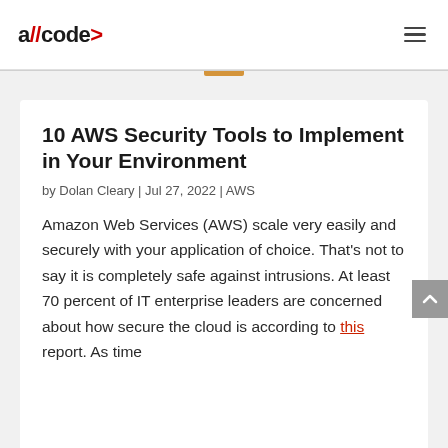allcode>
10 AWS Security Tools to Implement in Your Environment
by Dolan Cleary | Jul 27, 2022 | AWS
Amazon Web Services (AWS) scale very easily and securely with your application of choice. That's not to say it is completely safe against intrusions. At least 70 percent of IT enterprise leaders are concerned about how secure the cloud is according to this report. As time